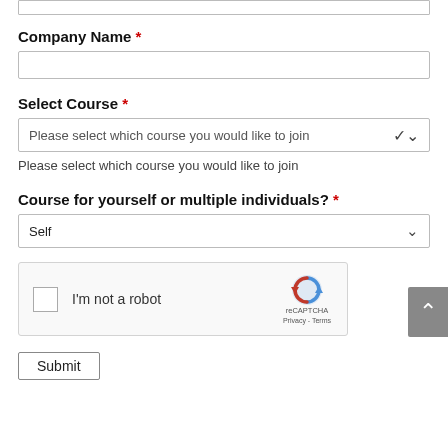[top border/input field partial]
Company Name *
[text input field]
Select Course *
Please select which course you would like to join [dropdown]
Please select which course you would like to join
Course for yourself or multiple individuals? *
Self [dropdown]
[Figure (other): reCAPTCHA widget with checkbox labeled 'I'm not a robot', reCAPTCHA logo, Privacy and Terms links]
Submit [button]